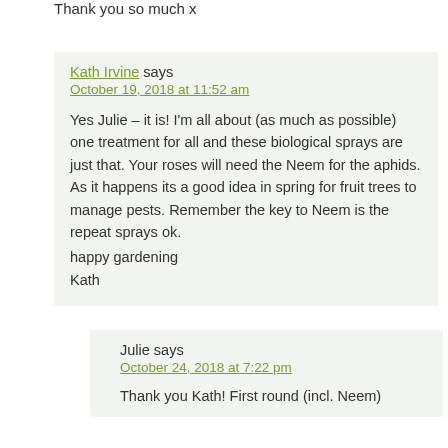Thank you so much x
Kath Irvine says
October 19, 2018 at 11:52 am

Yes Julie – it is! I'm all about (as much as possible) one treatment for all and these biological sprays are just that. Your roses will need the Neem for the aphids. As it happens its a good idea in spring for fruit trees to manage pests. Remember the key to Neem is the repeat sprays ok.
happy gardening
Kath
Julie says
October 24, 2018 at 7:22 pm

Thank you Kath! First round (incl. Neem)